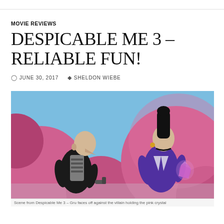MOVIE REVIEWS
DESPICABLE ME 3 – RELIABLE FUN!
JUNE 30, 2017   SHELDON WIEBE
[Figure (photo): Scene from Despicable Me 3 animated movie showing Gru in black outfit with striped scarf facing a villain character in purple suit holding a pink crystal, set against a pink bubble-shaped background and blue sky]
Scene from Despicable Me 3 showing Gru and villain character